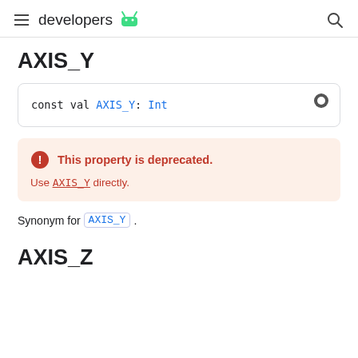developers
AXIS_Y
const val AXIS_Y: Int
This property is deprecated. Use AXIS_Y directly.
Synonym for AXIS_Y.
AXIS_Z